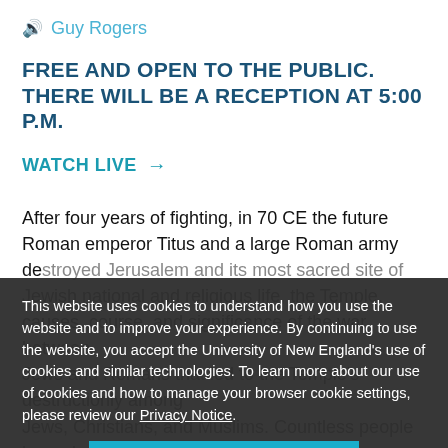Guy Rogers
FREE AND OPEN TO THE PUBLIC. THERE WILL BE A RECEPTION AT 5:00 P.M.
WATCH LIVE →
After four years of fighting, in 70 CE the future Roman emperor Titus and a large Roman army destroyed Jerusalem and its most sacred site of Jewish national and religious life, the Temple. This talk explores the causes, course, and significance of the war between Jews and Romans that led to the Temple's destruction and its aftermath, especially among Jews, Christians, and Muslims. Countless people have drawn strength from its spiritual, and personal lessons. Surprisingly, more people alive today are invested in the meaning of the
This website uses cookies to understand how you use the website and to improve your experience. By continuing to use the website, you accept the University of New England's use of cookies and similar technologies. To learn more about our use of cookies and how to manage your browser cookie settings, please review our Privacy Notice.
ACCEPT →